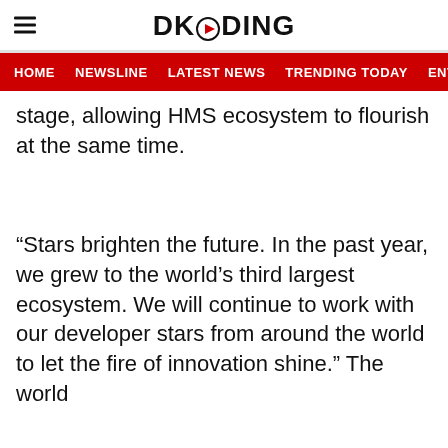DKODING
HOME  NEWSLINE  LATEST NEWS  TRENDING TODAY  ENT
stage, allowing HMS ecosystem to flourish at the same time.
“Stars brighten the future. In the past year, we grew to the world’s third largest ecosystem. We will continue to work with our developer stars from around the world to let the fire of innovation shine.” The world...